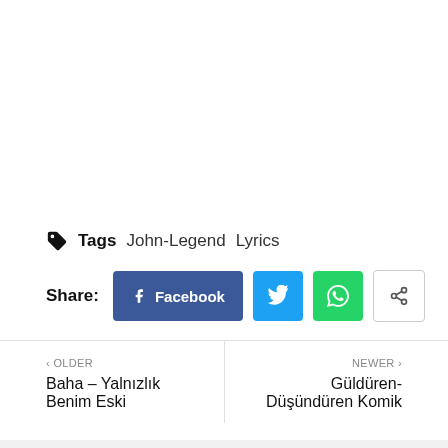Tags   John-Legend   Lyrics
Share:  Facebook  [Twitter]  [WhatsApp]  [Share]
< OLDER
Baha – Yalnızlık Benim Eski
NEWER >
Güldüren-Düşündüren Komik